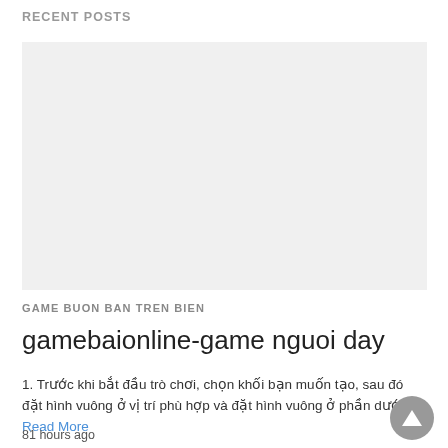RECENT POSTS
[Figure (other): Light gray rectangular image placeholder for a recent post thumbnail]
GAME BUON BAN TREN BIEN
gamebaionline-game nguoi day
1. Trước khi bắt đầu trò chơi, chọn khối bạn muốn tạo, sau đó đặt hình vuông ở vị trí phù hợp và đặt hình vuông ở phần dưới…Read More
81 hours ago